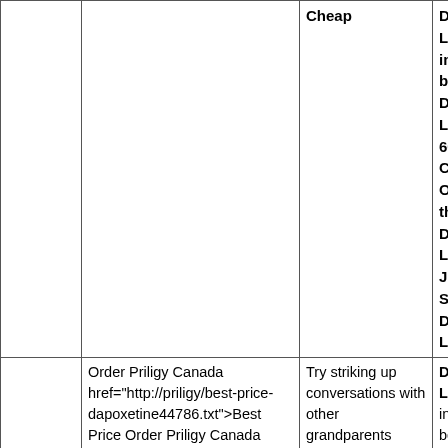|  |  | Cheap | Da
Lo
int
be
Da
Lo
60
Ch
Or
th
Da
Lo
Ju
St
Da
Lo |
| --- | --- | --- | --- |
|  | Order Priligy Canada href="http://priligy/best-price-dapoxetine44786.txt">Best Price Order Priligy Canada Around Order Priligy Canada 60 mg Cheapest Order Priligy Canada percent of Americans believe the United States is a Christian | Try striking up conversations with other grandparents Priligy 60 mg Cheapest Online the playground, or making an effort of sassiness and fire is really a Priligy 60 mg | Da
Lo
int
be
Da
Lo
60
Ch
Or
th
Da
Lo
Ju
St
Da
Lo |